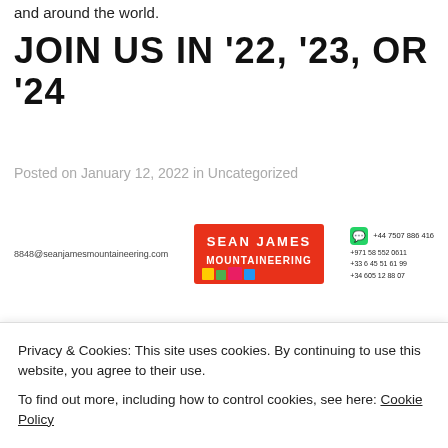and around the world.
JOIN US IN '22, '23, OR '24
Posted on January 12, 2022 in Uncategorized
[Figure (logo): Sean James Mountaineering banner with email, logo, and phone numbers]
| Expeditions for 2022 | Expeditions for 2023 | Expeditions for 2024 |
| --- | --- | --- |
| Everest 8848m  Lhotse  31.03.22  58 days 62 000 USD | Aconcagua 6961m  07.01.23  One of the 7 summits (South America) | Aconcagua 6961m  08.01.24  One of the 7 summits (South America) |
Privacy & Cookies: This site uses cookies. By continuing to use this website, you agree to their use.
To find out more, including how to control cookies, see here: Cookie Policy
south  Very demanding and technical